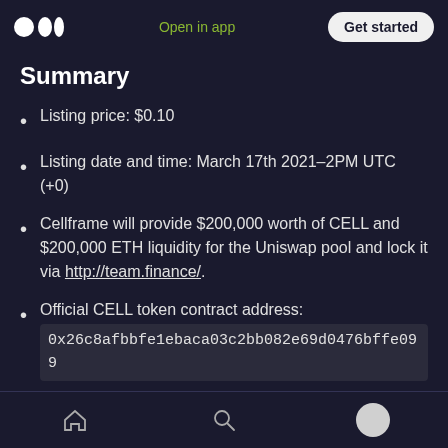Open in app   Get started
Summary
Listing price: $0.10
Listing date and time: March 17th 2021–2PM UTC (+0)
Cellframe will provide $200,000 worth of CELL and $200,000 ETH liquidity for the Uniswap pool and lock it via http://team.finance/.
Official CELL token contract address: 0x26c8afbbfe1ebaca03c2bb082e69d0476bffe099
Home   Search   Profile